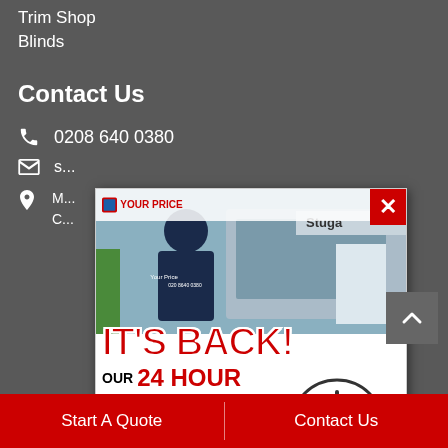Trim Shop
Blinds
Contact Us
0208 640 0380
s...
M...
[Figure (photo): Popup advertisement from 'Your Price' company showing a worker in a uniform in front of a Stuga machine. Text reads: IT'S BACK! OUR 24 HOUR EXPRESS UPVC WINDOW SERVICE IS BACK BY POPULAR DEMAND! COLLECTION ONLY. Features a 24hr Express Service clock graphic. Has a red close (X) button in top right corner.]
Start A Quote
Contact Us